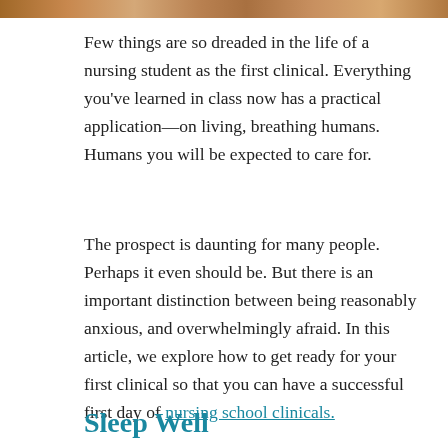[Figure (photo): Partial strip of a photo at the top of the page, showing people, cropped to a thin band.]
Few things are so dreaded in the life of a nursing student as the first clinical. Everything you've learned in class now has a practical application—on living, breathing humans. Humans you will be expected to care for.
The prospect is daunting for many people. Perhaps it even should be. But there is an important distinction between being reasonably anxious, and overwhelmingly afraid. In this article, we explore how to get ready for your first clinical so that you can have a successful first day of nursing school clinicals.
Sleep Well